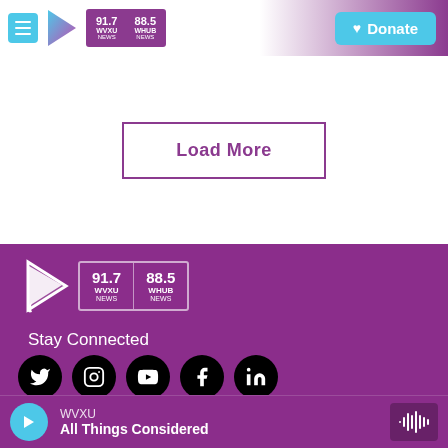[Figure (screenshot): Website header bar with hamburger menu button, purple play arrow logo, 91.7 WVXU NEWS / 88.5 WHUB NEWS logo box, and a teal Donate button on the right]
Load More
[Figure (screenshot): Purple footer section with WVXU 91.7/88.5 logo, Stay Connected heading, social media icons (Twitter, Instagram, YouTube, Facebook, LinkedIn), copyright text, and audio player bar showing WVXU - All Things Considered]